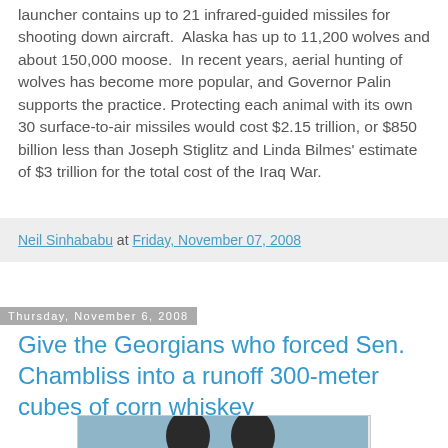launcher contains up to 21 infrared-guided missiles for shooting down aircraft.  Alaska has up to 11,200 wolves and about 150,000 moose.  In recent years, aerial hunting of wolves has become more popular, and Governor Palin supports the practice. Protecting each animal with its own 30 surface-to-air missiles would cost $2.15 trillion, or $850 billion less than Joseph Stiglitz and Linda Bilmes' estimate of $3 trillion for the total cost of the Iraq War.
Neil Sinhababu at Friday, November 07, 2008
Thursday, November 6, 2008
Give the Georgians who forced Sen. Chambliss into a runoff 300-meter cubes of corn whiskey
[Figure (photo): Photo of two people, partially visible at bottom of page]